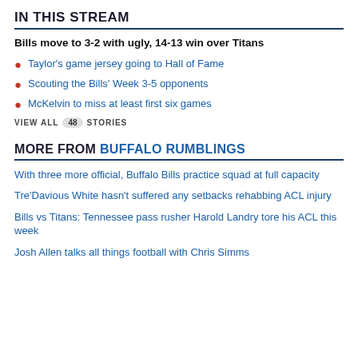IN THIS STREAM
Bills move to 3-2 with ugly, 14-13 win over Titans
Taylor's game jersey going to Hall of Fame
Scouting the Bills' Week 3-5 opponents
McKelvin to miss at least first six games
VIEW ALL 48 STORIES
MORE FROM BUFFALO RUMBLINGS
With three more official, Buffalo Bills practice squad at full capacity
Tre'Davious White hasn't suffered any setbacks rehabbing ACL injury
Bills vs Titans: Tennessee pass rusher Harold Landry tore his ACL this week
Josh Allen talks all things football with Chris Simms